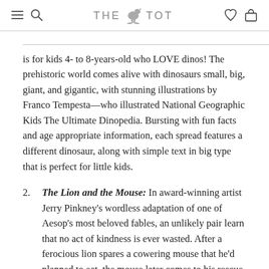THE TOT
is for kids 4- to 8-years-old who LOVE dinos! The prehistoric world comes alive with dinosaurs small, big, giant, and gigantic, with stunning illustrations by Franco Tempesta—who illustrated National Geographic Kids The Ultimate Dinopedia. Bursting with fun facts and age appropriate information, each spread features a different dinosaur, along with simple text in big type that is perfect for little kids.
2. The Lion and the Mouse: In award-winning artist Jerry Pinkney's wordless adaptation of one of Aesop's most beloved fables, an unlikely pair learn that no act of kindness is ever wasted. After a ferocious lion spares a cowering mouse that he'd planned to eat, the mouse later comes to his rescue, freeing him from a poacher's trap. With vivid depictions of the landscape of the African Serengeti and expressively-drawn